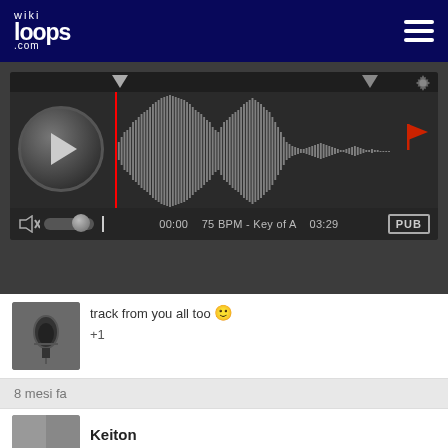wikiloops.com
[Figure (screenshot): Audio player with waveform, play button, time 00:00, 75 BPM, Key of A, duration 03:29, PUB badge]
track from you all too 🙂
+1
8 mesi fa
Keiton
wikiloops.com usa i Cookies per fornirti la miglior esperienza di navigazione.
Leggi di più nella nostra nota sulla tutela dei dati personali .